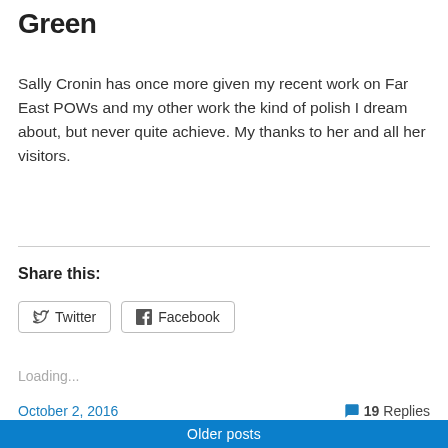Green
Sally Cronin has once more given my recent work on Far East POWs and my other work the kind of polish I dream about, but never quite achieve. My thanks to her and all her visitors.
Share this:
Loading...
October 2, 2016    💬 19 Replies